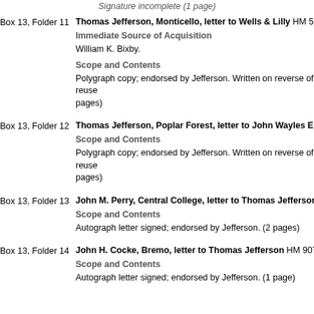Signature incomplete (1 page)
Box 13, Folder 11  Thomas Jefferson, Monticello, letter to Wells & Lilly HM 5882 18...
Immediate Source of Acquisition
William K. Bixby.
Scope and Contents
Polygraph copy; endorsed by Jefferson. Written on reverse of reuse... pages)
Box 13, Folder 12  Thomas Jefferson, Poplar Forest, letter to John Wayles Eppes H...
Scope and Contents
Polygraph copy; endorsed by Jefferson. Written on reverse of reuse... pages)
Box 13, Folder 13  John M. Perry, Central College, letter to Thomas Jefferson HM 9...
Scope and Contents
Autograph letter signed; endorsed by Jefferson. (2 pages)
Box 13, Folder 14  John H. Cocke, Bremo, letter to Thomas Jefferson HM 9077 181...
Scope and Contents
Autograph letter signed; endorsed by Jefferson. (1 page)